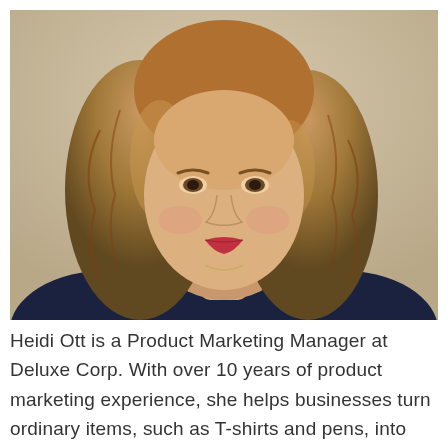[Figure (photo): Portrait photo of Heidi Ott, a woman with curly reddish-brown hair, wearing a dark navy blazer, photographed against a beige/cream background. Professional headshot style.]
Heidi Ott is a Product Marketing Manager at Deluxe Corp. With over 10 years of product marketing experience, she helps businesses turn ordinary items, such as T-shirts and pens, into extraordinary marketing vehicles with the addition of smart